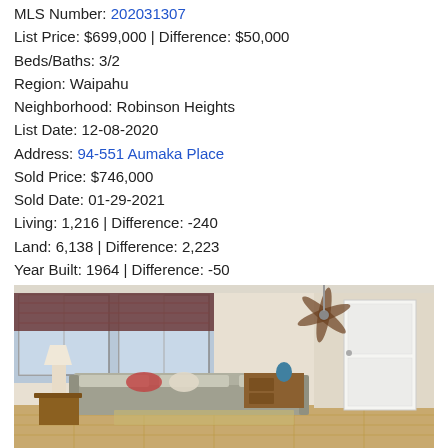MLS Number: 202031307
List Price: $699,000 | Difference: $50,000
Beds/Baths: 3/2
Region: Waipahu
Neighborhood: Robinson Heights
List Date: 12-08-2020
Address: 94-551 Aumaka Place
Sold Price: $746,000
Sold Date: 01-29-2021
Living: 1,216 | Difference: -240
Land: 6,138 | Difference: 2,223
Year Built: 1964 | Difference: -50
Days on Market: 8
Top of Page
[Figure (photo): Interior living room photo showing a sofa with pillows, ceiling fan, windows with dark roman shades, a lamp, wooden dresser, and white door. Hardwood floors visible.]